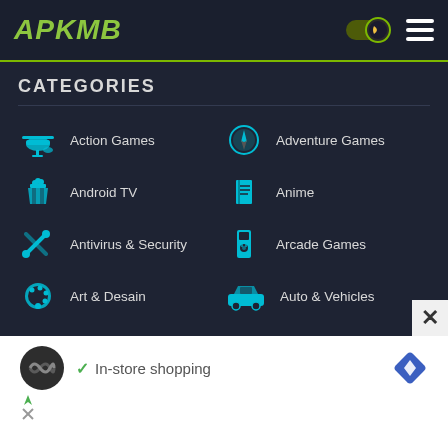APKMB
CATEGORIES
Action Games
Adventure Games
Android TV
Anime
Antivirus & Security
Arcade Games
Art & Desain
Auto & Vehicles
Beauty
Board Games
In-store shopping